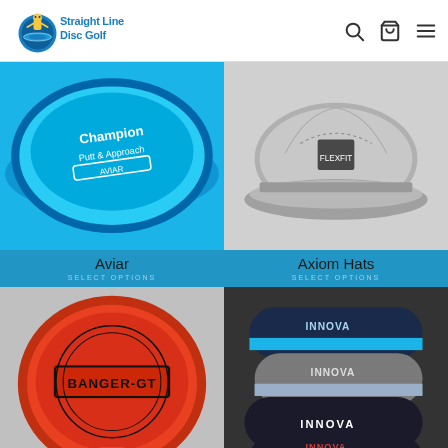[Figure (logo): Straight Line Disc Golf logo with cartoon character and stylized text]
[Figure (photo): Close-up of a blue Champion disc golf putter (Aviar) showing text 'Champion Putt & Approach']
Aviar
SELECT OPTIONS
[Figure (photo): Gray Axiom Hats flexfit hat on white background]
Axiom Hats
SELECT OPTIONS
[Figure (photo): Orange Innova Banger-GT disc golf disc on clear stand]
Banger-GT
[Figure (photo): Multiple Innova branded beanies in various stripe colors: blue/gray, dark navy, and red stripe]